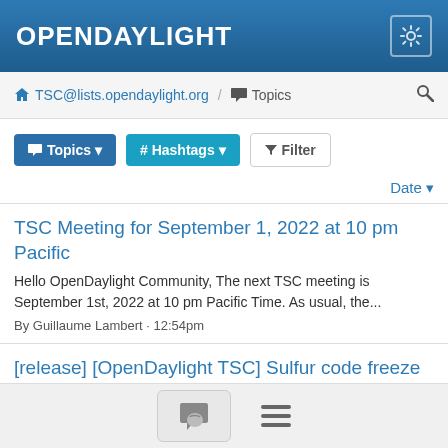OPENDAYLIGHT
TSC@lists.opendaylight.org / Topics
Topics  # Hashtags  Filter
Date
TSC Meeting for September 1, 2022 at 10 pm Pacific
Hello OpenDaylight Community, The next TSC meeting is September 1st, 2022 at 10 pm Pacific Time. As usual, the...
By Guillaume Lambert · 12:54pm
[release] [OpenDaylight TSC] Sulfur code freeze for SR2
This is a link to ...